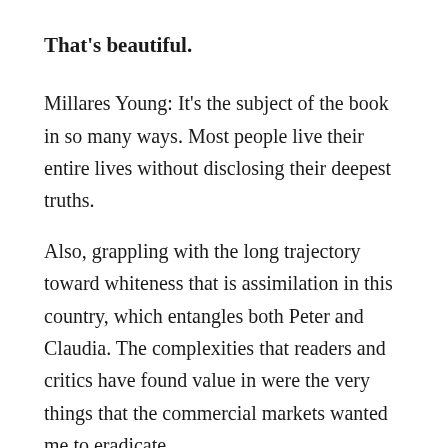That's beautiful.
Millares Young: It's the subject of the book in so many ways. Most people live their entire lives without disclosing their deepest truths.
Also, grappling with the long trajectory toward whiteness that is assimilation in this country, which entangles both Peter and Claudia. The complexities that readers and critics have found value in were the very things that the commercial markets wanted me to eradicate.